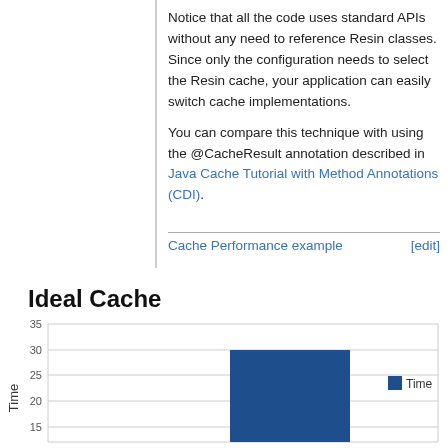Notice that all the code uses standard APIs without any need to reference Resin classes. Since only the configuration needs to select the Resin cache, your application can easily switch cache implementations.
You can compare this technique with using the @CacheResult annotation described in Java Cache Tutorial with Method Annotations (CDI).
Cache Performance example [edit]
Ideal Cache
[Figure (bar-chart): Ideal Cache]